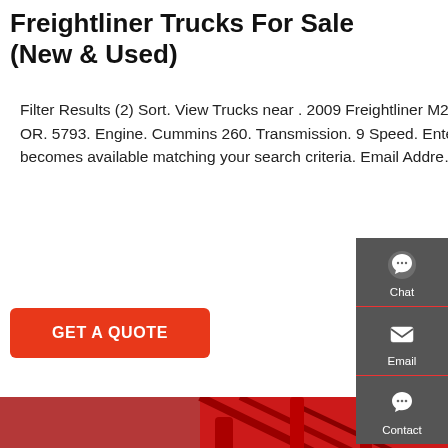Freightliner Trucks For Sale (New & Used)
Filter Results (2) Sort. View Trucks near . 2009 Freightliner M2-106 Tractor. $34,600. Track Price. 104,701 mi. Portland, OR. 5793. Engine. Cummins 260. Transmission. 9 Speed. Enter your email below and you will be notified as new trucks becomes available matching your search criteria. Email Addre...
GET A QUOTE
[Figure (screenshot): Sidebar with Chat, Email, and Contact icons on a gray background]
[Figure (photo): Close-up photograph of red and white Freightliner trucks, showing cab doors, tires, and red structural frames]